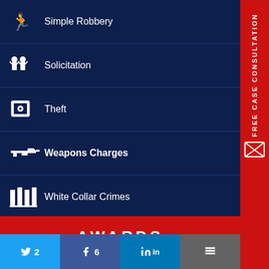Simple Robbery
Solicitation
Theft
Weapons Charges
White Collar Crimes
FREE CASE CONSULTATION
AWARDS
[Figure (photo): Minnesota State Bar Association Certified Specialist certificate card displayed against a dark blurred background]
2
6